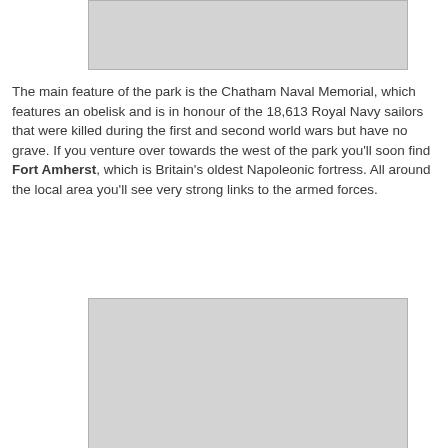[Figure (photo): Placeholder image at top of page (light grey rectangle)]
The main feature of the park is the Chatham Naval Memorial, which features an obelisk and is in honour of the 18,613 Royal Navy sailors that were killed during the first and second world wars but have no grave. If you venture over towards the west of the park you'll soon find Fort Amherst, which is Britain's oldest Napoleonic fortress. All around the local area you'll see very strong links to the armed forces.
[Figure (photo): Placeholder image at bottom of page (light grey rectangle)]